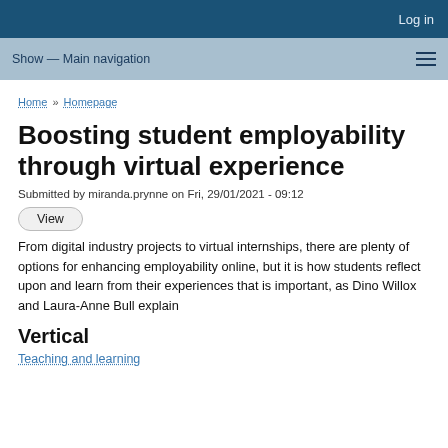Log in
Show — Main navigation
Home » Homepage
Boosting student employability through virtual experience
Submitted by miranda.prynne on Fri, 29/01/2021 - 09:12
View
From digital industry projects to virtual internships, there are plenty of options for enhancing employability online, but it is how students reflect upon and learn from their experiences that is important, as Dino Willox and Laura-Anne Bull explain
Vertical
Teaching and learning